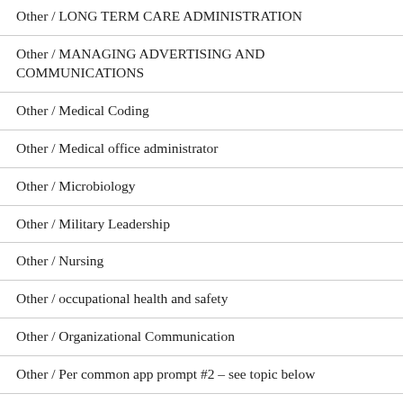Other / LONG TERM CARE ADMINISTRATION
Other / MANAGING ADVERTISING AND COMMUNICATIONS
Other / Medical Coding
Other / Medical office administrator
Other / Microbiology
Other / Military Leadership
Other / Nursing
Other / occupational health and safety
Other / Organizational Communication
Other / Per common app prompt #2 – see topic below
Other / Philosophy